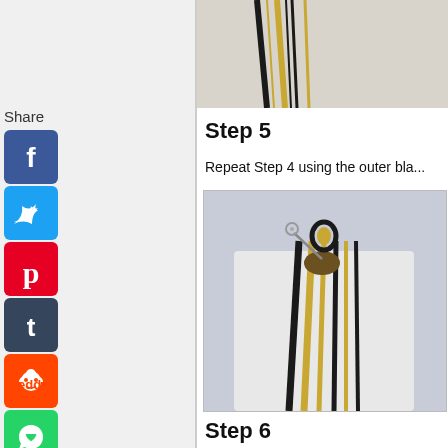Share
[Figure (screenshot): Social sharing icons sidebar: Facebook (blue), Twitter (light blue), Pinterest (red), Tumblr (dark blue-gray), Reddit (orange), WhatsApp (green), Messenger (blue)]
[Figure (photo): Top photo showing black and yellow/tan braided cord strands laid flat]
Step 5
Repeat Step 4 using the outer bla...
[Figure (photo): Photo showing black and yellow braided lanyard cord with a safety pin at top, cord strands hanging down]
Step 6